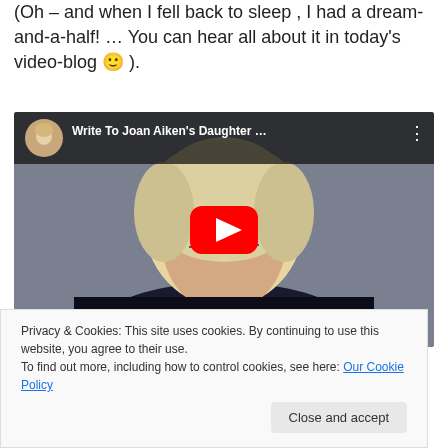(Oh – and when I fell back to sleep , I had a dream-and-a-half! … You can hear all about it in today's video-blog 🙂 ).
[Figure (screenshot): Embedded YouTube video thumbnail showing a woman with white/blonde hair and glasses wearing a dark top, with a red play button overlay. The video title bar at top reads 'Write To Joan Aiken's Daughter …' with a circular avatar of a blonde woman.]
Privacy & Cookies: This site uses cookies. By continuing to use this website, you agree to their use.
To find out more, including how to control cookies, see here: Our Cookie Policy